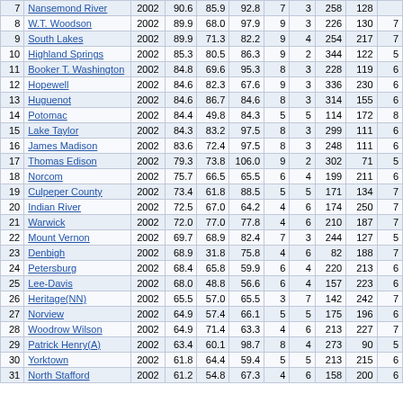| # | School | Year | Col4 | Col5 | Col6 | Col7 | Col8 | Col9 | Col10 | Col11 |
| --- | --- | --- | --- | --- | --- | --- | --- | --- | --- | --- |
| 7 | Nansemond River | 2002 | 90.6 | 85.9 | 92.8 | 7 | 3 | 258 | 128 |  |
| 8 | W.T. Woodson | 2002 | 89.9 | 68.0 | 97.9 | 9 | 3 | 226 | 130 | 7 |
| 9 | South Lakes | 2002 | 89.9 | 71.3 | 82.2 | 9 | 4 | 254 | 217 | 7 |
| 10 | Highland Springs | 2002 | 85.3 | 80.5 | 86.3 | 9 | 2 | 344 | 122 | 5 |
| 11 | Booker T. Washington | 2002 | 84.8 | 69.6 | 95.3 | 8 | 3 | 228 | 119 | 6 |
| 12 | Hopewell | 2002 | 84.6 | 82.3 | 67.6 | 9 | 3 | 336 | 230 | 6 |
| 13 | Huguenot | 2002 | 84.6 | 86.7 | 84.6 | 8 | 3 | 314 | 155 | 6 |
| 14 | Potomac | 2002 | 84.4 | 49.8 | 84.3 | 5 | 5 | 114 | 172 | 8 |
| 15 | Lake Taylor | 2002 | 84.3 | 83.2 | 97.5 | 8 | 3 | 299 | 111 | 6 |
| 16 | James Madison | 2002 | 83.6 | 72.4 | 97.5 | 8 | 3 | 248 | 111 | 6 |
| 17 | Thomas Edison | 2002 | 79.3 | 73.8 | 106.0 | 9 | 2 | 302 | 71 | 5 |
| 18 | Norcom | 2002 | 75.7 | 66.5 | 65.5 | 6 | 4 | 199 | 211 | 6 |
| 19 | Culpeper County | 2002 | 73.4 | 61.8 | 88.5 | 5 | 5 | 171 | 134 | 7 |
| 20 | Indian River | 2002 | 72.5 | 67.0 | 64.2 | 4 | 6 | 174 | 250 | 7 |
| 21 | Warwick | 2002 | 72.0 | 77.0 | 77.8 | 4 | 6 | 210 | 187 | 7 |
| 22 | Mount Vernon | 2002 | 69.7 | 68.9 | 82.4 | 7 | 3 | 244 | 127 | 5 |
| 23 | Denbigh | 2002 | 68.9 | 31.8 | 75.8 | 4 | 6 | 82 | 188 | 7 |
| 24 | Petersburg | 2002 | 68.4 | 65.8 | 59.9 | 6 | 4 | 220 | 213 | 6 |
| 25 | Lee-Davis | 2002 | 68.0 | 48.8 | 56.6 | 6 | 4 | 157 | 223 | 6 |
| 26 | Heritage(NN) | 2002 | 65.5 | 57.0 | 65.5 | 3 | 7 | 142 | 242 | 7 |
| 27 | Norview | 2002 | 64.9 | 57.4 | 66.1 | 5 | 5 | 175 | 196 | 6 |
| 28 | Woodrow Wilson | 2002 | 64.9 | 71.4 | 63.3 | 4 | 6 | 213 | 227 | 7 |
| 29 | Patrick Henry(A) | 2002 | 63.4 | 60.1 | 98.7 | 8 | 4 | 273 | 90 | 5 |
| 30 | Yorktown | 2002 | 61.8 | 64.4 | 59.4 | 5 | 5 | 213 | 215 | 6 |
| 31 | North Stafford | 2002 | 61.2 | 54.8 | 67.3 | 4 | 6 | 158 | 200 | 6 |